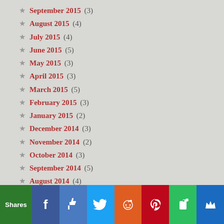September 2015 (3)
August 2015 (4)
July 2015 (4)
June 2015 (5)
May 2015 (3)
April 2015 (3)
March 2015 (5)
February 2015 (3)
January 2015 (2)
December 2014 (3)
November 2014 (2)
October 2014 (3)
September 2014 (5)
August 2014 (4)
July 2014 (4)
June 2014 (5)
[Figure (infographic): Social sharing bar with Shares label (green), Facebook (blue), Like/thumbs-up (blue), Twitter (light blue), Reddit (orange), Pinterest (red), Evernote (green), Crown/bookmark (blue) buttons]